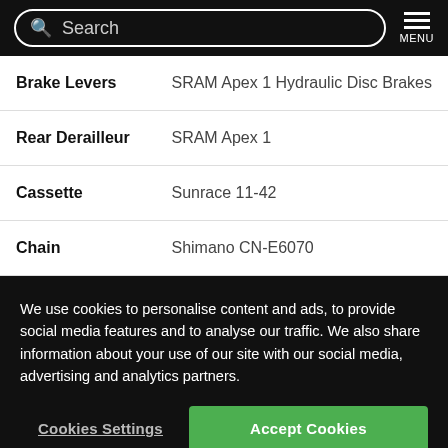Search | MENU
| Attribute | Value |
| --- | --- |
| Brake Levers | SRAM Apex 1 Hydraulic Disc Brakes |
| Rear Derailleur | SRAM Apex 1 |
| Cassette | Sunrace 11-42 |
| Chain | Shimano CN-E6070 |
We use cookies to personalise content and ads, to provide social media features and to analyse our traffic. We also share information about your use of our site with our social media, advertising and analytics partners.
Cookies Settings | Accept Cookies